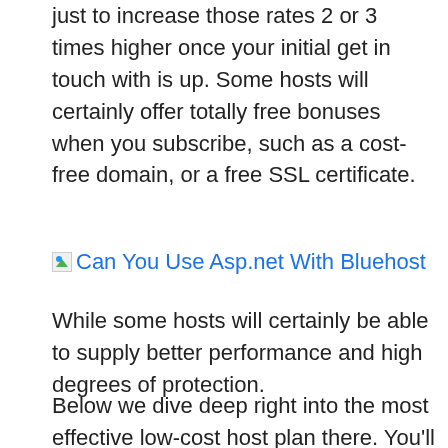just to increase those rates 2 or 3 times higher once your initial get in touch with is up. Some hosts will certainly offer totally free bonuses when you subscribe, such as a cost-free domain, or a free SSL certificate.
[Figure (other): Broken image placeholder with link text 'Can You Use Asp.net With Bluehost']
While some hosts will certainly be able to supply better performance and high degrees of protection.
Below we dive deep right into the most effective low-cost host plan there. You'll discover what core hosting features are